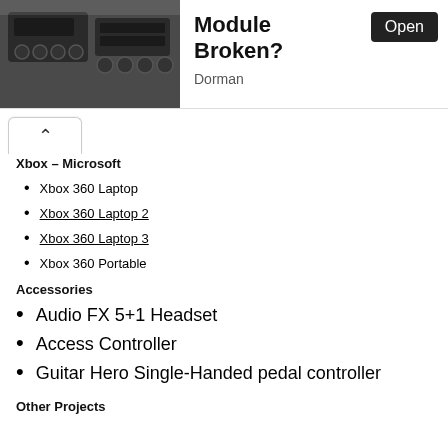[Figure (screenshot): Ad banner with photo of car radio/climate control modules on left, bold text 'Module Broken?' in center, 'Open' button top right, 'Dorman' subtitle]
Xbox – Microsoft
Xbox 360 Laptop
Xbox 360 Laptop 2
Xbox 360 Laptop 3
Xbox 360 Portable
Accessories
Audio FX 5+1 Headset
Access Controller
Guitar Hero Single-Handed pedal controller
Other Projects